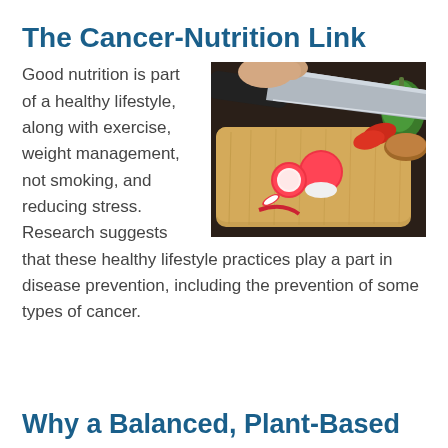The Cancer-Nutrition Link
[Figure (photo): A hand using a chef's knife to slice radishes on a wooden cutting board, with green and red peppers visible in the background.]
Good nutrition is part of a healthy lifestyle, along with exercise, weight management, not smoking, and reducing stress. Research suggests that these healthy lifestyle practices play a part in disease prevention, including the prevention of some types of cancer.
Why a Balanced, Plant-Based